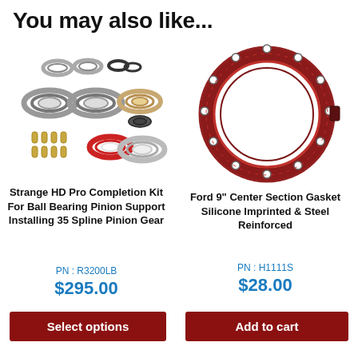You may also like...
[Figure (photo): Strange HD Pro Completion Kit bearing parts: multiple tapered roller bearings, seals, cups, and small bolts arranged on white background]
Strange HD Pro Completion Kit For Ball Bearing Pinion Support Installing 35 Spline Pinion Gear
PN : R3200LB
$295.00
Select options
[Figure (photo): Ford 9 inch center section gasket: round red steel-reinforced silicone imprinted gasket with bolt holes around perimeter, on white background]
Ford 9" Center Section Gasket Silicone Imprinted & Steel Reinforced
PN : H1111S
$28.00
Add to cart